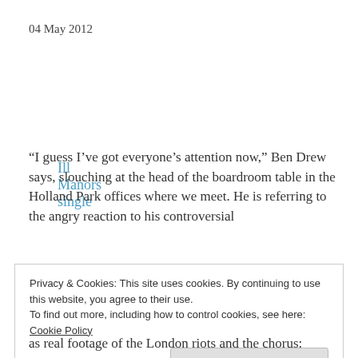04 May 2012
Ill Manors single
“I guess I’ve got everyone’s attention now,” Ben Drew says, slouching at the head of the boardroom table in the Holland Park offices where we meet. He is referring to the angry reaction to his controversial
Privacy & Cookies: This site uses cookies. By continuing to use this website, you agree to their use.
To find out more, including how to control cookies, see here:
Cookie Policy
Close and accept
as real footage of the London riots and the chorus: